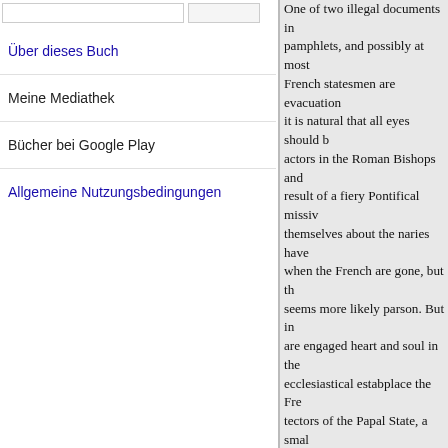Über dieses Buch
Meine Mediathek
Bücher bei Google Play
Allgemeine Nutzungsbedingungen
One of two illegal documents in pamphlets, and possibly at most French statesmen are evacuation it is natural that all eyes should b actors in the Roman Bishops and result of a fiery Pontifical missiv themselves about the naries have when the French are gone, but th seems more likely parson. But in are engaged heart and soul in the ecclesiastical estabplace the Fre tectors of the Papal State, a smal volunteers will be no safe- State brigandage repetition in any con would be in reality a declaration Parliament, and the sitfind their restricted within intolerably narr themselves, the Roman tain wha thunderbolt might be. holidays. by the Roman Liberals to keep o has weighed an- it is unnecossar heavy blow and discouragement